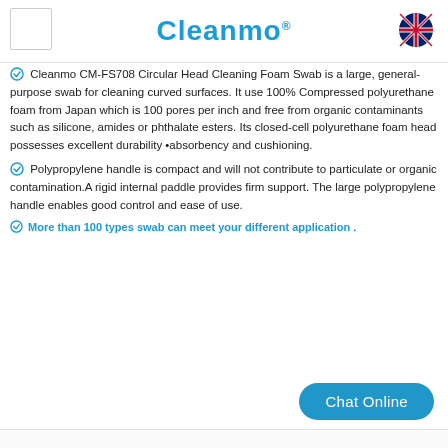[Figure (logo): Cleanmo logo with registered trademark symbol and a small square placeholder on the left, UK flag icon on the right]
Cleanmo CM-FS708 Circular Head Cleaning Foam Swab is a large, general-purpose swab for cleaning curved surfaces. It use 100% Compressed polyurethane foam from Japan which is 100 pores per inch and free from organic contaminants such as silicone, amides or phthalate esters. Its closed-cell polyurethane foam head possesses excellent durability absorbency and cushioning.
Polypropylene handle is compact and will not contribute to particulate or organic contamination.A rigid internal paddle provides firm support. The large polypropylene handle enables good control and ease of use.
More than 100 types swab can meet your different application .